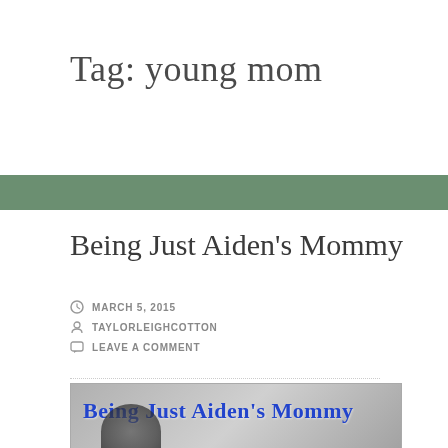Tag: young mom
Being Just Aiden's Mommy
MARCH 5, 2015
TAYLORLEIGHCOTTON
LEAVE A COMMENT
[Figure (photo): Blog header image with cursive text reading 'Being Just Aiden's Mommy' in blue over a grayscale photo of a person and child near a fence or railing]